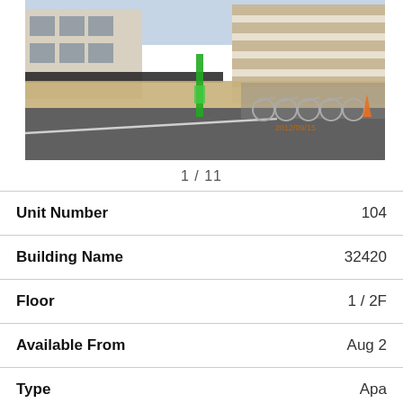[Figure (photo): Street-level photo of a Japanese apartment building exterior showing bicycles parked along a wall, a green pole/post visible, and residential/commercial buildings in the background. A date stamp reads 2012/09/15 in orange.]
1 / 11
| Unit Number | 104 |
| Building Name | 32420 |
| Floor | 1 / 2F |
| Available From | Aug 2 |
| Type | Apa |